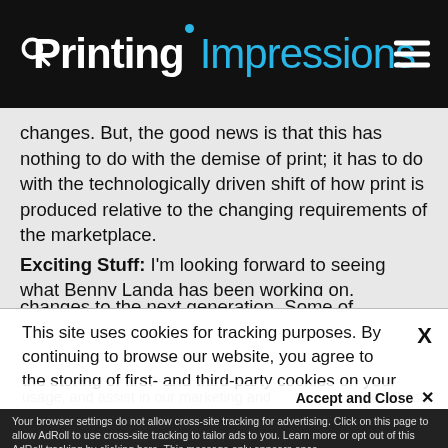Printing Impressions
changes. But, the good news is that this has nothing to do with the demise of print; it has to do with the technologically driven shift of how print is produced relative to the changing requirements of the marketplace. Exciting Stuff: I'm looking forward to seeing what Benny Landa has been working on, because he has a history of interesting developments and…
This site uses cookies for tracking purposes. By continuing to browse our website, you agree to the storing of first- and third-party cookies on your device to enhance site navigation, analyze site usage, and assist in our marketing and
Accept and Close ✕
Your browser settings do not allow cross-site tracking for advertising. Click on this page to allow AdRoll to use cross-site tracking to tailor ads to you. Learn more or opt out of this AdRoll tracking by clicking here. This message only appears once.